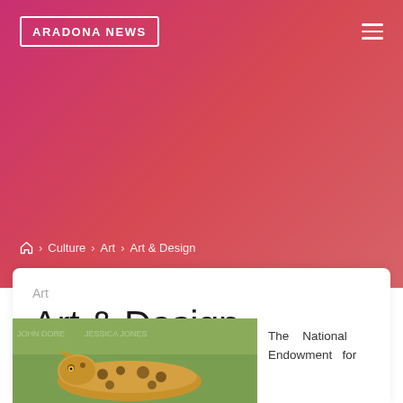ARADONA NEWS
Home > Culture > Art > Art & Design
Art
Art & Design
Ronald H. Brooks · January 12, 2022 · Leave a comment
[Figure (photo): Photo of an animal (leopard/cheetah) lying in grass, partially visible]
The National Endowment for